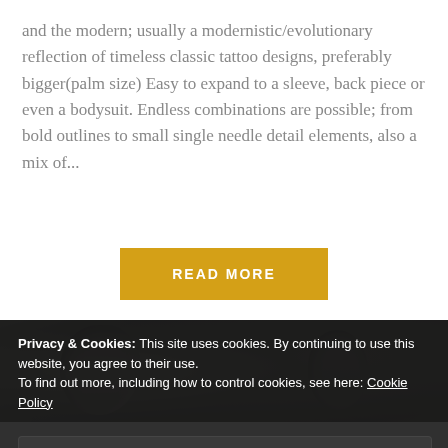and the modern; usually a modernistic/evolutionary reflection of timeless classic tattoo designs, preferably bigger(palm size) Easy to expand to a sleeve, back piece or even a bodysuit. Endless combinations are possible; from bold outlines to small single needle detail elements, also a mix of...
READ MORE
[Figure (photo): Close-up photo of a black and grey tattoo showing detailed figure/portrait work with flowing lines and shading]
Privacy & Cookies: This site uses cookies. By continuing to use this website, you agree to their use.
To find out more, including how to control cookies, see here: Cookie Policy
Close and accept